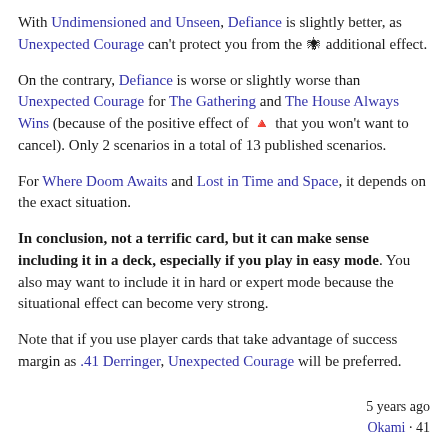With Undimensioned and Unseen, Defiance is slightly better, as Unexpected Courage can't protect you from the 🕷 additional effect.
On the contrary, Defiance is worse or slightly worse than Unexpected Courage for The Gathering and The House Always Wins (because of the positive effect of 🔺 that you won't want to cancel). Only 2 scenarios in a total of 13 published scenarios.
For Where Doom Awaits and Lost in Time and Space, it depends on the exact situation.
In conclusion, not a terrific card, but it can make sense including it in a deck, especially if you play in easy mode. You also may want to include it in hard or expert mode because the situational effect can become very strong.
Note that if you use player cards that take advantage of success margin as .41 Derringer, Unexpected Courage will be preferred.
5 years ago
Okami · 41